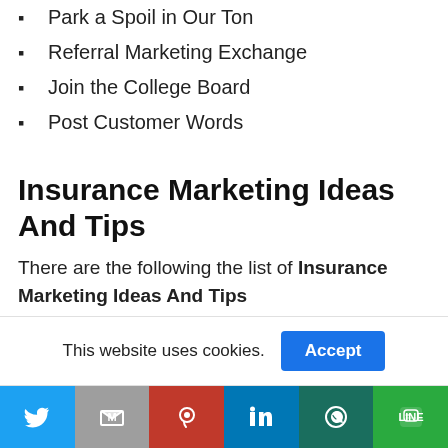Park a Spoil in Our Ton
Referral Marketing Exchange
Join the College Board
Post Customer Words
Insurance Marketing Ideas And Tips
There are the following the list of Insurance Marketing Ideas And Tips
Facebook Advertising
This website uses cookies.
[Figure (other): Social share bar with Twitter, Gmail, Pinterest, LinkedIn, WhatsApp, and Line buttons]